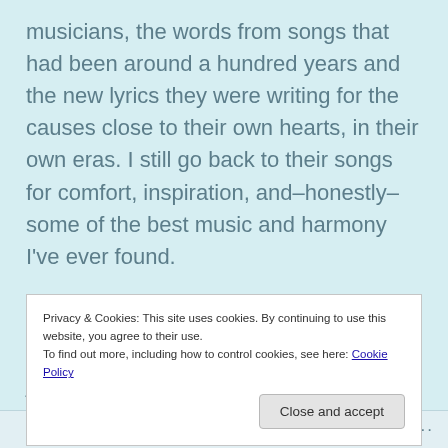musicians, the words from songs that had been around a hundred years and the new lyrics they were writing for the causes close to their own hearts, in their own eras. I still go back to their songs for comfort, inspiration, and–honestly–some of the best music and harmony I've ever found.

I saw Arlo Guthrie in concert in the eighties. Saw Joan Baez in Santa Cruz just a couple of years ago. To my loss, I never got to hear Peter, Paul, and Mary in
Privacy & Cookies: This site uses cookies. By continuing to use this website, you agree to their use.
To find out more, including how to control cookies, see here: Cookie Policy
Close and accept
Part of what I listened to this music for– a big part–was
Follow